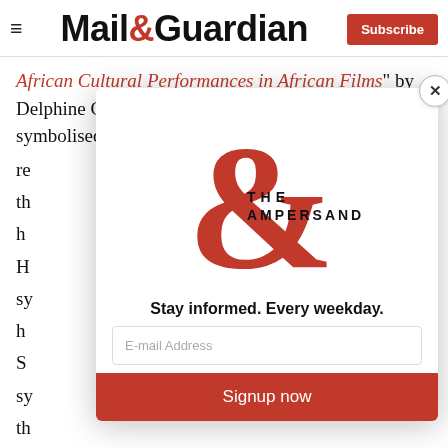Mail&Guardian | Subscribe
African Cultural Performances in African Films" by Delphine Cosmas Njewel, African filmmakers have symbolised the cultural struggle in Africa by
re... th... h...
H... sy... h... S... sy... th... sy... h...
[Figure (logo): The Ampersand logo: large red ampersand symbol with THE AMPERSAND text]
Stay informed. Every weekday.
E-mail Address
Signup now